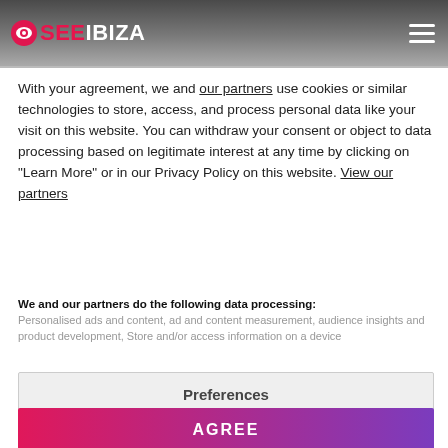SEEIBIZA
With your agreement, we and our partners use cookies or similar technologies to store, access, and process personal data like your visit on this website. You can withdraw your consent or object to data processing based on legitimate interest at any time by clicking on "Learn More" or in our Privacy Policy on this website. View our partners
We and our partners do the following data processing: Personalised ads and content, ad and content measurement, audience insights and product development, Store and/or access information on a device
Preferences
AGREE